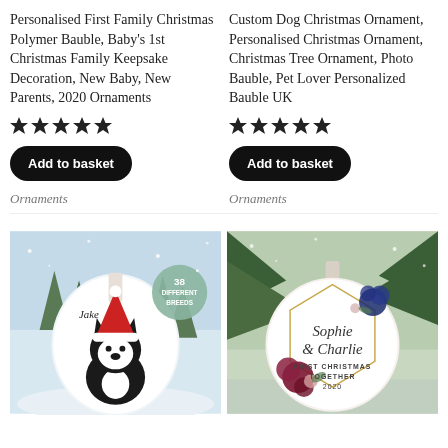Personalised First Family Christmas Polymer Bauble, Baby's 1st Christmas Family Keepsake Decoration, New Baby, New Parents, 2020 Ornaments
[Figure (illustration): Five filled black stars rating]
Add to basket
Ornaments
Custom Dog Christmas Ornament, Personalised Christmas Ornament, Christmas Tree Ornament, Photo Bauble, Pet Lover Personalized Bauble UK
[Figure (illustration): Five filled black stars rating]
Add to basket
Ornaments
[Figure (photo): Christmas ornament bauble featuring a Boston Terrier dog wearing a Santa hat in a winter snow scene, with text 'Jake' and badge '38 Different Breeds']
[Figure (photo): Christmas ornament bauble with floral design featuring names 'Sophie & Charlie' and text 'First Christmas Together 2020' with navy and burgundy flowers]